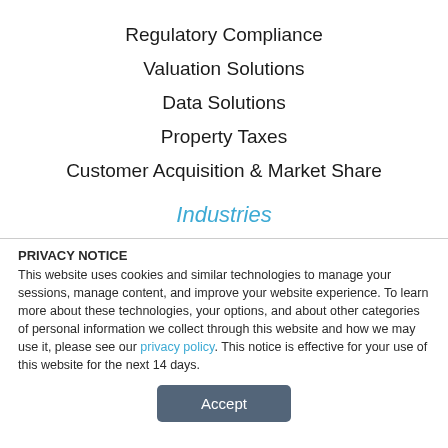Regulatory Compliance
Valuation Solutions
Data Solutions
Property Taxes
Customer Acquisition & Market Share
Industries
PRIVACY NOTICE This website uses cookies and similar technologies to manage your sessions, manage content, and improve your website experience. To learn more about these technologies, your options, and about other categories of personal information we collect through this website and how we may use it, please see our privacy policy. This notice is effective for your use of this website for the next 14 days.